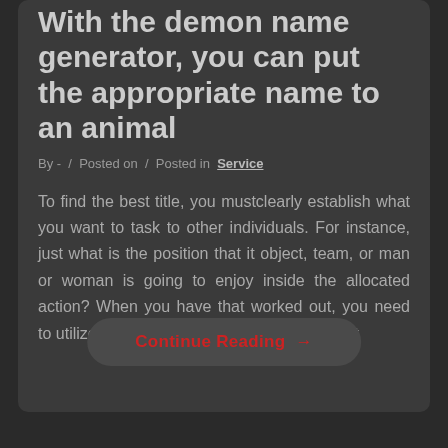With the demon name generator, you can put the appropriate name to an animal
By -  /  Posted on  /  Posted in  Service
To find the best title, you mustclearly establish what you want to task to other individuals. For instance, just what is the position that it object, team, or man or woman is going to enjoy inside the allocated action? When you have that worked out, you need to utilize the demonic name generator allow it
Continue Reading →